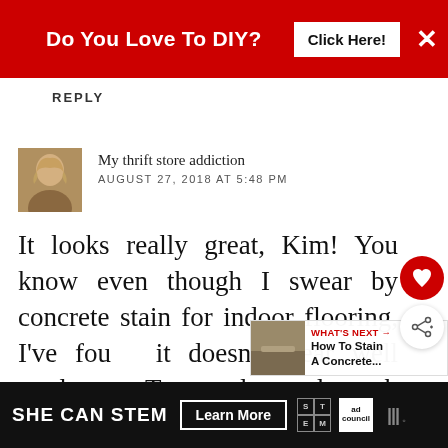[Figure (infographic): Red ad banner: 'Do You Love To DIY?' with 'Click Here!' button and X close button]
REPLY
[Figure (photo): Avatar photo of commenter with blonde hair]
My thrift store addiction
AUGUST 27, 2018 AT 5:48 PM
It looks really great, Kim! You know even though I swear by concrete stain for indoor flooring, I've found it doesn't wear well outdoors. I recently used porch paint to makeover my bathroom floor. I'll keep it in mind for its intended
REPLY DELETE
[Figure (infographic): Bottom ad banner: SHE CAN STEM with Learn More button and STEM / Ad Council logos]